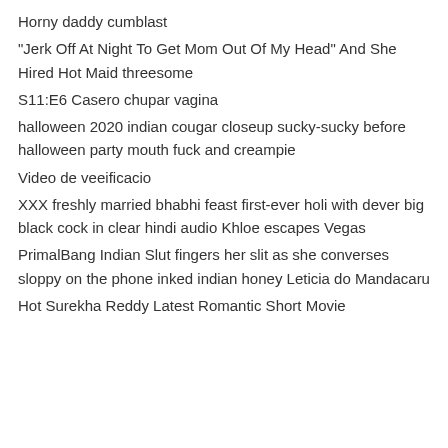Horny daddy cumblast
&quot;Jerk Off At Night To Get Mom Out Of My Head&quot; And She Hired Hot Maid threesome
S11:E6 Casero chupar vagina
halloween 2020 indian cougar closeup sucky-sucky before halloween party mouth fuck and creampie
Video de veeificacio
XXX freshly married bhabhi feast first-ever holi with dever big black cock in clear hindi audio Khloe escapes Vegas
PrimalBang Indian Slut fingers her slit as she converses sloppy on the phone inked indian honey Leticia do Mandacaru
Hot Surekha Reddy Latest Romantic Short Movie